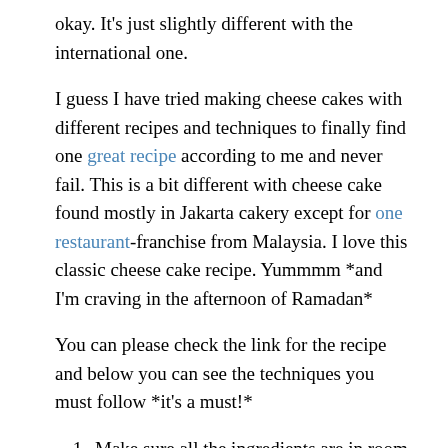okay. It's just slightly different with the international one.
I guess I have tried making cheese cakes with different recipes and techniques to finally find one great recipe according to me and never fail. This is a bit different with cheese cake found mostly in Jakarta cakery except for one restaurant-franchise from Malaysia. I love this classic cheese cake recipe. Yummmm *and I'm craving in the afternoon of Ramadan*
You can please check the link for the recipe and below you can see the techniques you must follow *it's a must!*
Make sure all the ingredients are in room temperature. Any cold items are not allowed to be used.
Use powder sugar. If you don't have one, just use the food processor to grind your granulated